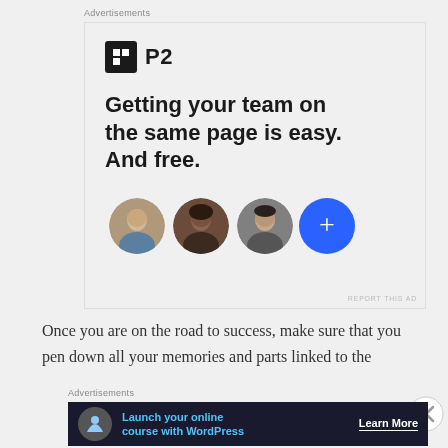Advertisements
[Figure (illustration): P2 advertisement: logo with black square icon and 'P2' text, headline 'Getting your team on the same page is easy. And free.' with three circular avatar photos and a blue plus button]
REPORT THIS AD
Once you are on the road to success, make sure that you pen down all your memories and parts linked to the
Advertisements
[Figure (illustration): Dark banner ad: 'Launch your online course with WordPress' with tree/person icon and 'Learn More' button]